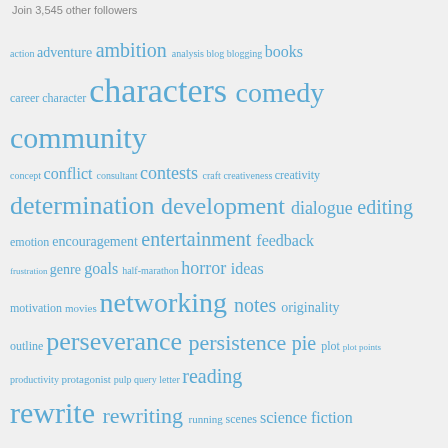Join 3,545 other followers
[Figure (infographic): Tag cloud with words related to screenwriting, writing, and creativity in varying sizes of blue text on a light gray background. Larger words include screenwriting, screenplays, script, scripts, characters, comedy, community, determination, development, networking, perseverance, persistence, rewrite, rewriting. Smaller words include action, adventure, ambition, analysis, blog, blogging, books, career, character, concept, conflict, consultant, contests, craft, creativeness, creativity, dialogue, editing, emotion, encouragement, entertainment, feedback, frustration, genre, goals, half-marathon, horror, ideas, motivation, movies, notes, originality, outline, pie, plot, plot points, productivity, protagonist, pulp, query letter, reading, running, scenes, science fiction, Screenplay, screenwriting contests, self-confidence, short film, social media.]